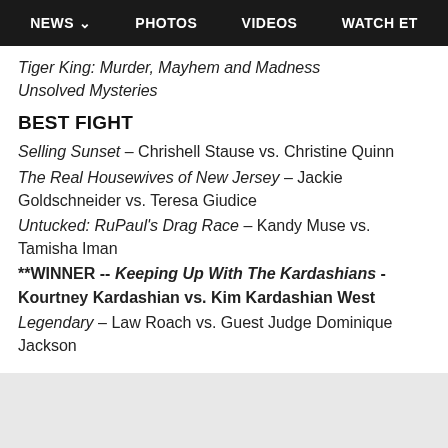NEWS  PHOTOS  VIDEOS  WATCH ET
Tiger King: Murder, Mayhem and Madness
Unsolved Mysteries
BEST FIGHT
Selling Sunset – Chrishell Stause vs. Christine Quinn
The Real Housewives of New Jersey – Jackie Goldschneider vs. Teresa Giudice
Untucked: RuPaul's Drag Race – Kandy Muse vs. Tamisha Iman
**WINNER -- Keeping Up With The Kardashians - Kourtney Kardashian vs. Kim Kardashian West
Legendary – Law Roach vs. Guest Judge Dominique Jackson